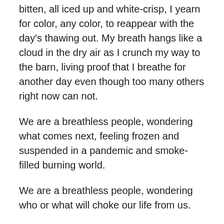bitten, all iced up and white-crisp, I yearn for color, any color, to reappear with the day's thawing out. My breath hangs like a cloud in the dry air as I crunch my way to the barn, living proof that I breathe for another day even though too many others right now can not.
We are a breathless people, wondering what comes next, feeling frozen and suspended in a pandemic and smoke-filled burning world.
We are a breathless people, wondering who or what will choke our life from us.
We are a breathless people, dressed as a bride in frosted satin, waiting at the altar for the Groom who bleeds red to save us from our fate.